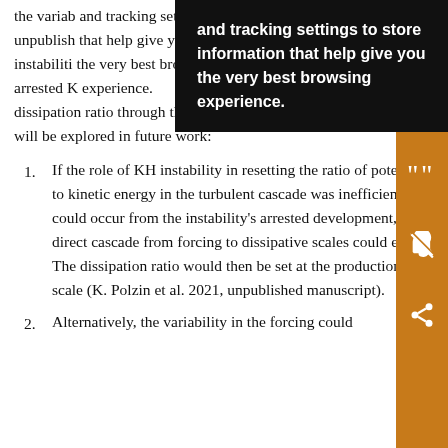the variability in the forcing could … 2021, unpublished … instabilities … this arrested K … of the dissipation ratio through three suggested routes, which will be explored in future work:
If the role of KH instability in resetting the ratio of potential to kinetic energy in the turbulent cascade was inefficient, as could occur from the instability's arrested development, a direct cascade from forcing to dissipative scales could ensue. The dissipation ratio would then be set at the production scale (K. Polzin et al. 2021, unpublished manuscript).
Alternatively, the variability in the forcing could